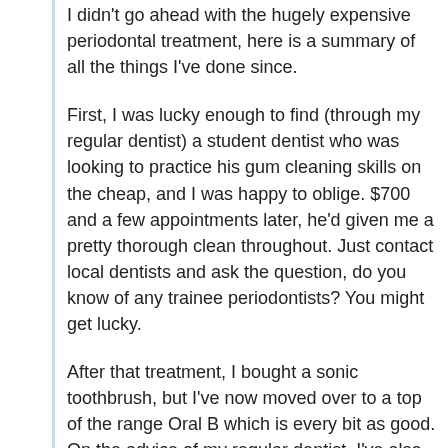I didn't go ahead with the hugely expensive periodontal treatment, here is a summary of all the things I've done since.
First, I was lucky enough to find (through my regular dentist) a student dentist who was looking to practice his gum cleaning skills on the cheap, and I was happy to oblige. $700 and a few appointments later, he'd given me a pretty thorough clean throughout. Just contact local dentists and ask the question, do you know of any trainee periodontists? You might get lucky.
After that treatment, I bought a sonic toothbrush, but I've now moved over to a top of the range Oral B which is every bit as good. On the advice of my regular dentist, I've also bought a Waterpik, that's